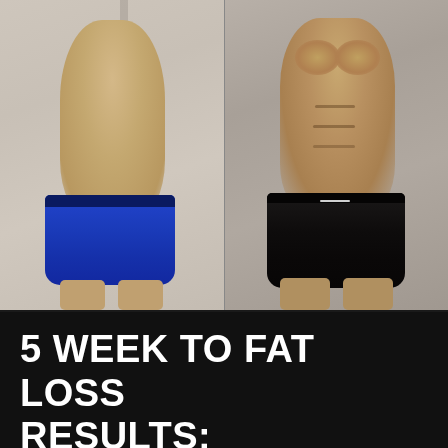[Figure (photo): Before and after fitness transformation photos side by side. Left photo shows a man in blue shorts with a softer physique. Right photo shows the same man in black shorts with a visibly more muscular and lean physique with defined abs.]
5 WEEK TO FAT LOSS RESULTS: